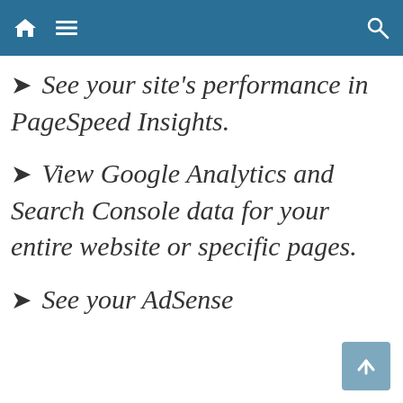Navigation bar with home icon, menu icon, and search icon
➤ See your site's performance in PageSpeed Insights.
➤ View Google Analytics and Search Console data for your entire website or specific pages.
➤ See your AdSense